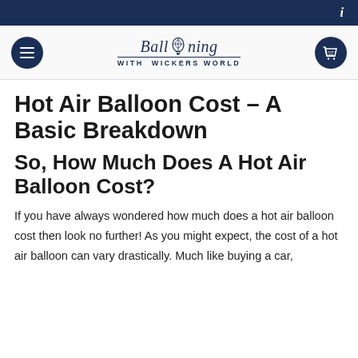i
[Figure (logo): Ballooning with Wickers World logo with hot air balloon icon, navigation menu button (hamburger) on left and shopping cart button on right]
Hot Air Balloon Cost – A Basic Breakdown
So, How Much Does A Hot Air Balloon Cost?
If you have always wondered how much does a hot air balloon cost then look no further! As you might expect, the cost of a hot air balloon can vary drastically. Much like buying a car,